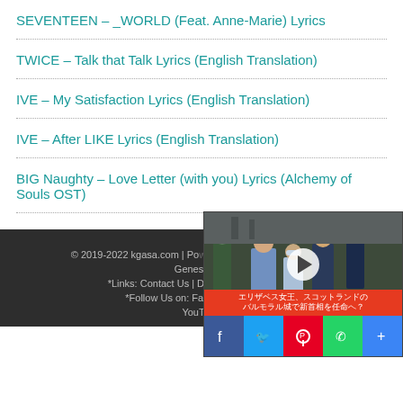SEVENTEEN – _WORLD (Feat. Anne-Marie) Lyrics
TWICE – Talk that Talk Lyrics (English Translation)
IVE – My Satisfaction Lyrics (English Translation)
IVE – After LIKE Lyrics (English Translation)
BIG Naughty – Love Letter (with you) Lyrics (Alchemy of Souls OST)
© 2019-2022 kgasa.com | Powered by WordPress | Theme: Genesis | *Links: Contact Us | DMCA | *Follow Us on: Facebook | Twitter | YouTube